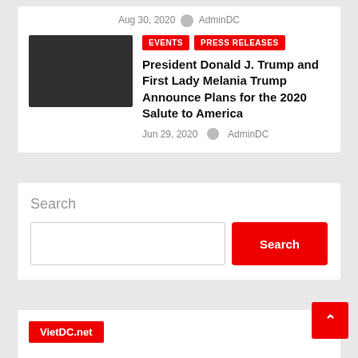Aug 30, 2020  AdminDC
[Figure (photo): Dark/black thumbnail image for article]
EVENTS   PRESS RELEASES
President Donald J. Trump and First Lady Melania Trump Announce Plans for the 2020 Salute to America
Jun 29, 2020  AdminDC
Search
Search (button)
VietDC.net